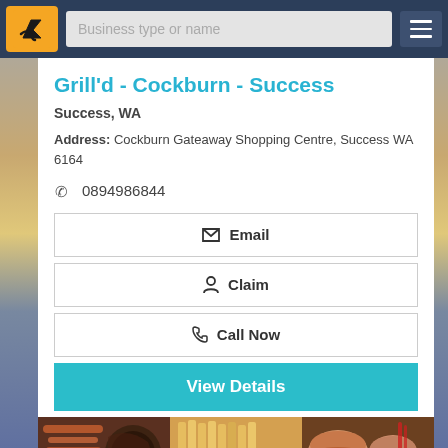[Figure (screenshot): Navigation bar with orange logo (hand icon on orange background), search input placeholder 'Business type or name', and dark hamburger menu button on dark blue background]
Grill'd - Cockburn - Success
Success, WA
Address: Cockburn Gateaway Shopping Centre, Success WA 6164
0894986844
Email
Claim
Call Now
View Details
[Figure (photo): Food photos showing grilled meats, french fries in a basket, and burgers on a wooden table]